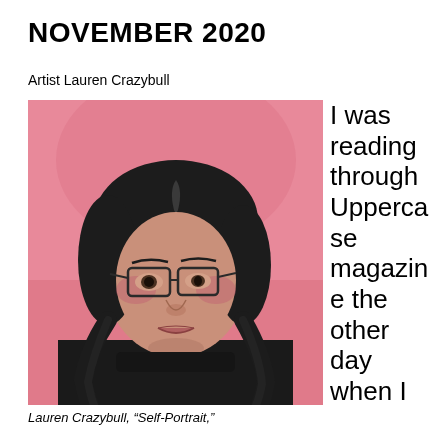NOVEMBER 2020
Artist Lauren Crazybull
[Figure (photo): Painting portrait of Lauren Crazybull, a woman with dark braided hair, glasses, and a black top, against a pink background. Self-portrait oil painting.]
Lauren Crazybull, “Self-Portrait,”
I was reading through Uppercase magazine the other day when I